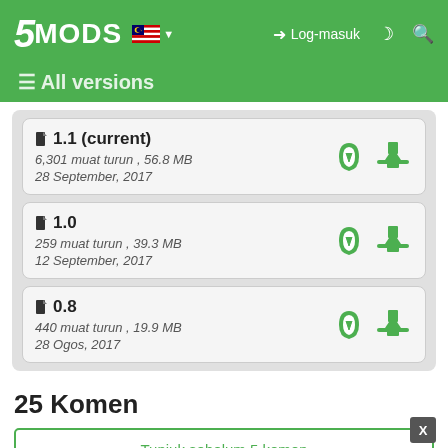5MODS | Log-masuk
All versions
1.1 (current)
6,301 muat turun , 56.8 MB
28 September, 2017
1.0
259 muat turun , 39.3 MB
12 September, 2017
0.8
440 muat turun , 19.9 MB
28 Ogos, 2017
25 Komen
Tunjuk sebelum 5 komen
oKBZy